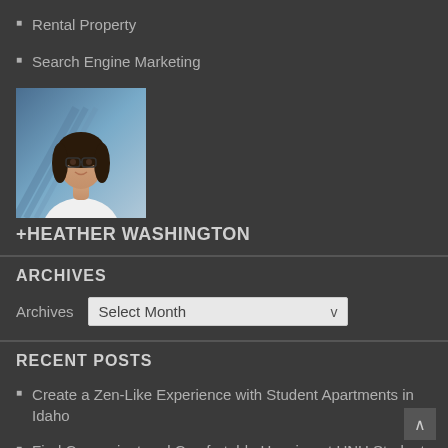Rental Property
Search Engine Marketing
[Figure (photo): Profile photo of a woman with dark hair and glasses, wearing a white top, with a blue/grey architectural background]
+HEATHER WASHINGTON
ARCHIVES
Archives  Select Month
RECENT POSTS
Create a Zen-Like Experience with Student Apartments in Idaho
Find Convenient and Comfortable Housing at UNH Student Housing in Durham
Gain More Privacy for Spiritual Pursuits with Student Apartments